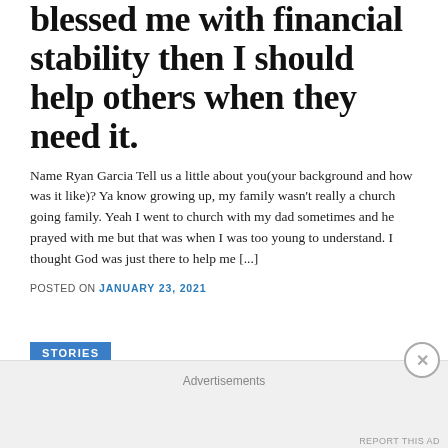blessed me with financial stability then I should help others when they need it.
Name Ryan Garcia Tell us a little about you(your background and how was it like)? Ya know growing up, my family wasn't really a church going family. Yeah I went to church with my dad sometimes and he prayed with me but that was when I was too young to understand. I thought God was just there to help me [...]
POSTED ON JANUARY 23, 2021
STORIES
Valeria: my favorite phrase in life, which my grandmother once said to
Advertisements